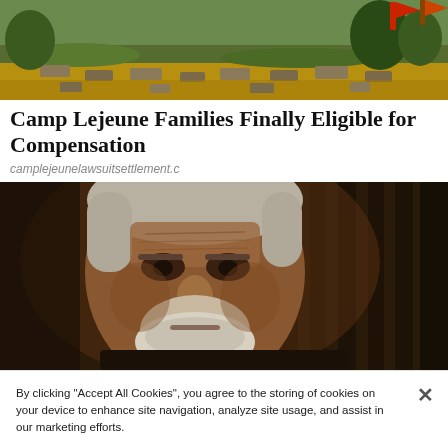[Figure (photo): Outdoor landscape photo with autumn-colored ground, green grass patches, stone steps or markers, and trees in background with some red/orange flags or banners visible at top right]
Camp Lejeune Families Finally Eligible for Compensation
camplejeunelawsuitsettlement.c
[Figure (photo): Close-up portrait of an elderly man with white/gray hair, weathered face, deep-set eyes, and white beard, photographed in low-light conditions with a dark background of vertical bars or blinds]
By clicking “Accept All Cookies”, you agree to the storing of cookies on your device to enhance site navigation, analyze site usage, and assist in our marketing efforts.
Cookies Settings
Accept All Cookies